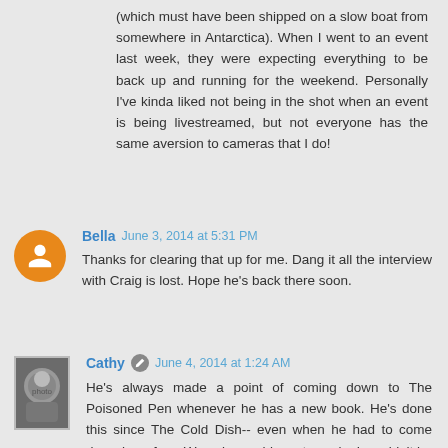(which must have been shipped on a slow boat from somewhere in Antarctica). When I went to an event last week, they were expecting everything to be back up and running for the weekend. Personally I've kinda liked not being in the shot when an event is being livestreamed, but not everyone has the same aversion to cameras that I do!
Bella  June 3, 2014 at 5:31 PM
Thanks for clearing that up for me. Dang it all the interview with Craig is lost. Hope he's back there soon.
Cathy  June 4, 2014 at 1:24 AM
He's always made a point of coming down to The Poisoned Pen whenever he has a new book. He's done this since The Cold Dish-- even when he had to come down here from Wyoming on his motorcycle. I wouldn't be at all surprised if he...